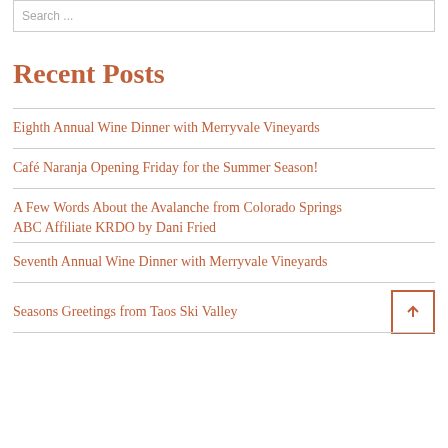Search ...
Recent Posts
Eighth Annual Wine Dinner with Merryvale Vineyards
Café Naranja Opening Friday for the Summer Season!
A Few Words About the Avalanche from Colorado Springs ABC Affiliate KRDO by Dani Fried
Seventh Annual Wine Dinner with Merryvale Vineyards
Seasons Greetings from Taos Ski Valley